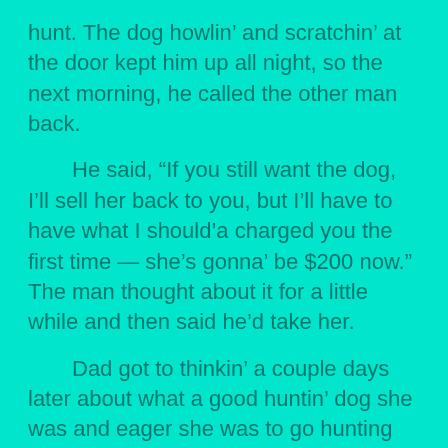hunt. The dog howlin' and scratchin' at the door kept him up all night, so the next morning, he called the other man back.
He said, “If you still want the dog, I’ll sell her back to you, but I’ll have to have what I should’a charged you the first time — she’s gonna’ be $200 now.” The man thought about it for a little while and then said he’d take her.
Dad got to thinkin’ a couple days later about what a good huntin’ dog she was and eager she was to go hunting the night she was back. “It’s no tellin what that dog’s really worth,” he thought to himself. So he called the man to buy her back again. The man said, “Sorry, Clifford. I sold that dog to a man over in Chinquapen. He gave me $300 for her.” Cliff said, “Why’d you do that, you fool? We was both making good money off’n that dog.”